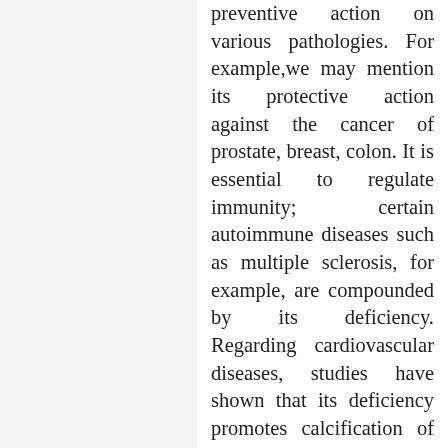preventive action on various pathologies. For example,we may mention its protective action against the cancer of prostate, breast, colon. It is essential to regulate immunity; certain autoimmune diseases such as multiple sclerosis, for example, are compounded by its deficiency. Regarding cardiovascular diseases, studies have shown that its deficiency promotes calcification of arteries. There is even a link between stroke and lack of vitamin D. And for some time we know that spontaneous elderly falls were due to deficiency because of the weakness it